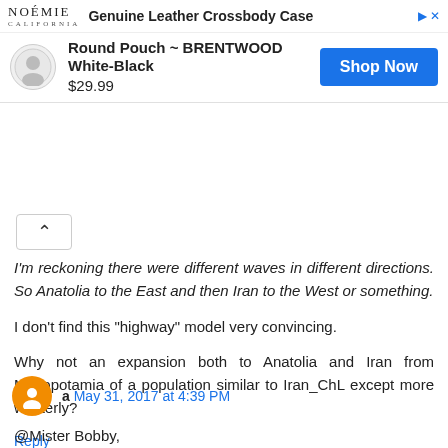[Figure (screenshot): Advertisement banner for Noémie Genuine Leather Crossbody Case showing product 'Round Pouch ~ BRENTWOOD White-Black' priced at $29.99 with a blue 'Shop Now' button]
I'm reckoning there were different waves in different directions. So Anatolia to the East and then Iran to the West or something.
I don't find this "highway" model very convincing.
Why not an expansion both to Anatolia and Iran from Mesopotamia of a population similar to Iran_ChL except more westerly?
Reply
a  May 31, 2017 at 4:39 PM
@Mister Bobby,
Whatever became of all your teal scenario's